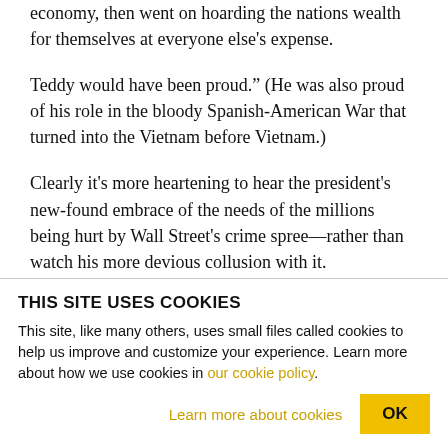economy, then went on hoarding the nations wealth for themselves at everyone else's expense.
Teddy would have been proud." (He was also proud of his role in the bloody Spanish-American War that turned into the Vietnam before Vietnam.)
Clearly it's more heartening to hear the president's new-found embrace of the needs of the millions being hurt by Wall Street's crime spree—rather than watch his more devious collusion with it.
THIS SITE USES COOKIES
This site, like many others, uses small files called cookies to help us improve and customize your experience. Learn more about how we use cookies in our cookie policy.
Learn more about cookies    OK